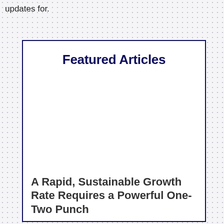updates for.
Featured Articles
A Rapid, Sustainable Growth Rate Requires a Powerful One-Two Punch